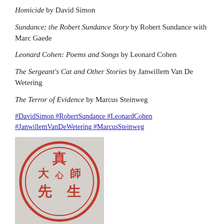Homicide by David Simon
Sundance: the Robert Sundance Story by Robert Sundance with Marc Gaede
Leonard Cohen: Poems and Songs by Leonard Cohen
The Sergeant's Cat and Other Stories by Janwillem Van De Wetering
The Terror of Evidence by Marcus Steinweg
#DavidSimon #RobertSundance #LeonardCohen #JanwillemVanDeWetering #MarcusSteinweg
[Figure (photo): A red circular Chinese seal/stamp with Chinese characters inside on a light gray background]
email